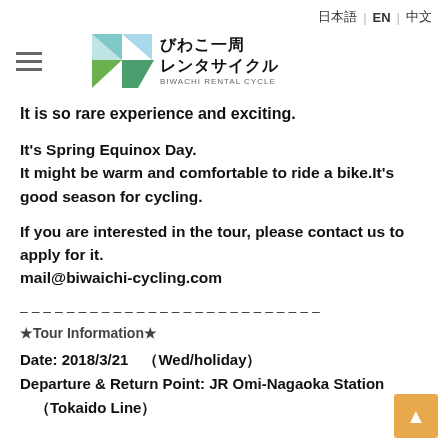日本語 | EN | 中文
[Figure (logo): Biwako Rental Cycle logo with colorful geometric shapes and Japanese text びわこ一周レンタサイクル BIWACHI RENTAL CYCLE]
It is so rare experience and exciting.
It's Spring Equinox Day.
It might be warm and comfortable to ride a bike.It's good season for cycling.
If you are interested in the tour, please contact us to apply for it.
mail@biwaichi-cycling.com
– – – – – – – – – – – – – – – – – – – – – – – – – –
★Tour Information★
Date: 2018/3/21　（Wed/holiday）
Departure & Return Point: JR Omi-Nagaoka Station
（Tokaido Line）